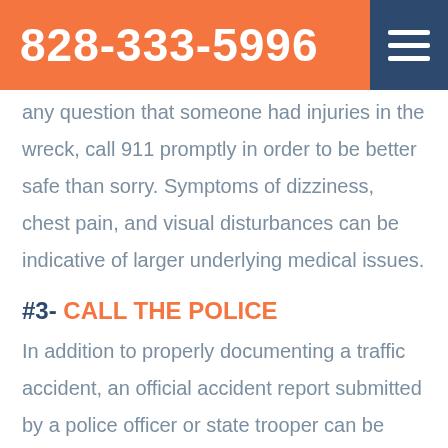828-333-5996
any question that someone had injuries in the wreck, call 911 promptly in order to be better safe than sorry. Symptoms of dizziness, chest pain, and visual disturbances can be indicative of larger underlying medical issues.
#3- CALL THE POLICE
In addition to properly documenting a traffic accident, an official accident report submitted by a police officer or state trooper can be essential for dealing with an insurance company. Insurance